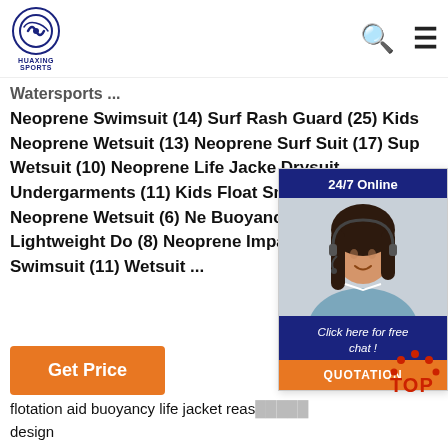HUAXING SPORTS logo with search and menu icons
Watersports ...
Neoprene Swimsuit (14) Surf Rash Guard (25) Kids Neoprene Wetsuit (13) Neoprene Surf Suit (17) Sup Wetsuit (10) Neoprene Life Jacket Drysuit Undergarments (11) Kids Float Smooth Skin Neoprene Wetsuit (6) Ne Buoyancy Wetsuit (3) Lightweight Do (8) Neoprene Impact Vest (10) Baby L Swimsuit (11) Wetsuit ...
[Figure (other): 24/7 Online chat widget with woman wearing headset, 'Click here for free chat!' text, and QUOTATION button]
[Figure (other): Get Price orange button]
flotation aid buoyancy life jacket reasonable design
aquatic lifesaving foam life saving sleeveless garment total direct sales
inflatable lifejacket work kid swim life jacket complete specifications
ce approved 150n marine lifesaving sleeveless garment luctor
[Figure (logo): TOP badge with red dots in arc pattern]